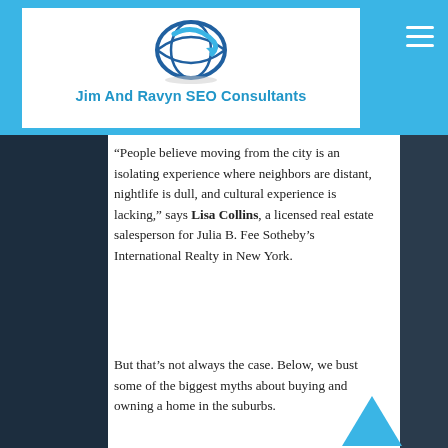Jim And Ravyn SEO Consultants
“People believe moving from the city is an isolating experience where neighbors are distant, nightlife is dull, and cultural experience is lacking,” says Lisa Collins, a licensed real estate salesperson for Julia B. Fee Sotheby’s International Realty in New York.
But that’s not always the case. Below, we bust some of the biggest myths about buying and owning a home in the suburbs.
Myth No. 1: Real